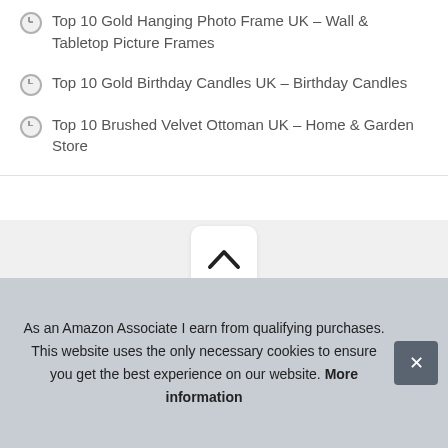Top 10 Gold Hanging Photo Frame UK – Wall & Tabletop Picture Frames
Top 10 Gold Birthday Candles UK – Birthday Candles
Top 10 Brushed Velvet Ottoman UK – Home & Garden Store
[Figure (other): Scroll to top button with upward chevron arrow on light gray background]
Armimano © 2022. All Rights Reserved.
As an Amazon Associate I earn from qualifying purchases. This website uses the only necessary cookies to ensure you get the best experience on our website. More information